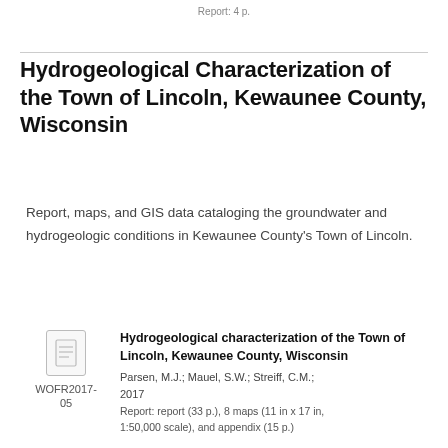Report: 4 p.
Hydrogeological Characterization of the Town of Lincoln, Kewaunee County, Wisconsin
Report, maps, and GIS data cataloging the groundwater and hydrogeologic conditions in Kewaunee County's Town of Lincoln.
WOFR2017-05
Hydrogeological characterization of the Town of Lincoln, Kewaunee County, Wisconsin
Parsen, M.J.; Mauel, S.W.; Streiff, C.M.; 2017
Report: report (33 p.), 8 maps (11 in x 17 in, 1:50,000 scale), and appendix (15 p.)